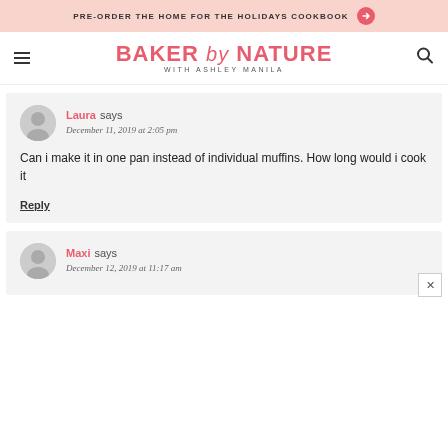PRE-ORDER THE HOME FOR THE HOLIDAYS COOKBOOK →
BAKER by NATURE WITH ASHLEY MANILA
Laura says
December 11, 2019 at 2:05 pm

Can i make it in one pan instead of individual muffins. How long would i cook it
Reply
Maxi says
December 12, 2019 at 11:17 am